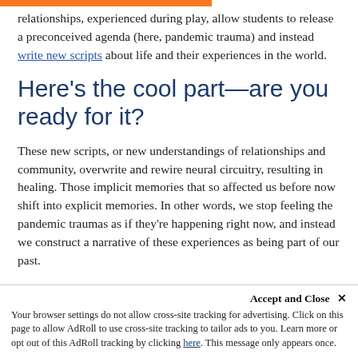relationships, experienced during play, allow students to release a preconceived agenda (here, pandemic trauma) and instead write new scripts about life and their experiences in the world.
Here's the cool part—are you ready for it?
These new scripts, or new understandings of relationships and community, overwrite and rewire neural circuitry, resulting in healing. Those implicit memories that so affected us before now shift into explicit memories. In other words, we stop feeling the pandemic traumas as if they're happening right now, and instead we construct a narrative of these experiences as being part of our past...
Accept and Close ✕
Your browser settings do not allow cross-site tracking for advertising. Click on this page to allow AdRoll to use cross-site tracking to tailor ads to you. Learn more or opt out of this AdRoll tracking by clicking here. This message only appears once.